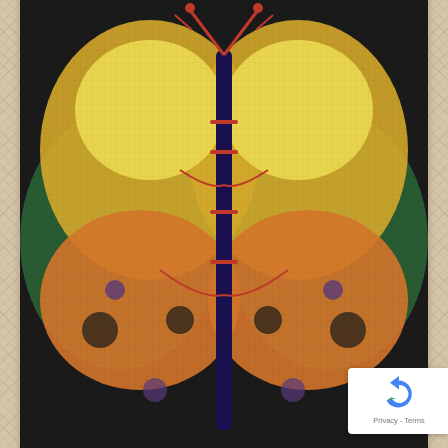[Figure (photo): Needlepoint cross-stitch butterfly design on canvas, showing an orange and yellow butterfly with red and dark markings on a green/dark background, seen from top portion of product card]
Butterfly
$36.00
[Figure (photo): Needlepoint cross-stitch flower/dog design on yellow background with orange, red, white, purple accents, partially visible in second product card]